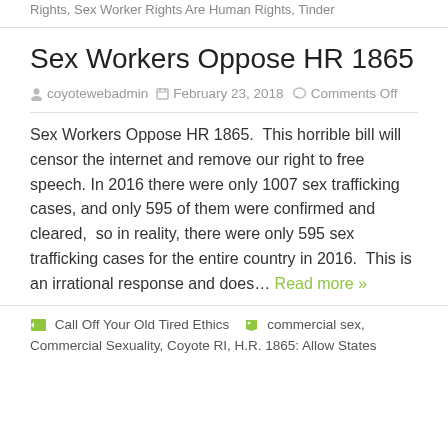Rights, Sex Worker Rights Are Human Rights, Tinder
Sex Workers Oppose HR 1865
coyotewebadmin  February 23, 2018  Comments Off
Sex Workers Oppose HR 1865.  This horrible bill will censor the internet and remove our right to free speech. In 2016 there were only 1007 sex trafficking cases, and only 595 of them were confirmed and cleared,  so in reality, there were only 595 sex trafficking cases for the entire country in 2016.  This is an irrational response and does… Read more »
Call Off Your Old Tired Ethics  commercial sex, Commercial Sexuality, Coyote RI, H.R. 1865: Allow States